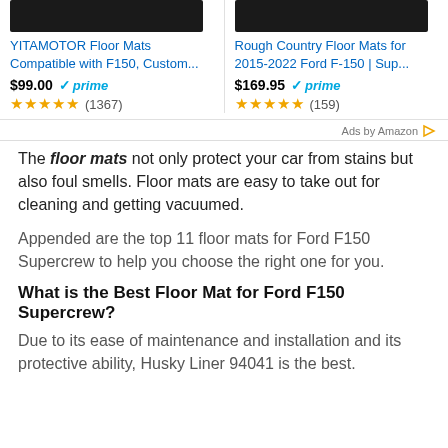[Figure (screenshot): Two Amazon product ad thumbnails side by side: YITAMOTOR Floor Mats and Rough Country Floor Mats, each showing a dark product image at top, product title in blue, price with Prime badge, and star ratings with review counts.]
YITAMOTOR Floor Mats Compatible with F150, Custom...
$99.00 ✓prime ★★★★★ (1367)
Rough Country Floor Mats for 2015-2022 Ford F-150 | Sup...
$169.95 ✓prime ★★★★★ (159)
Ads by Amazon
The floor mats not only protect your car from stains but also foul smells. Floor mats are easy to take out for cleaning and getting vacuumed.
Appended are the top 11 floor mats for Ford F150 Supercrew to help you choose the right one for you.
What is the Best Floor Mat for Ford F150 Supercrew?
Due to its ease of maintenance and installation and its protective ability, Husky Liner 94041 is the best.